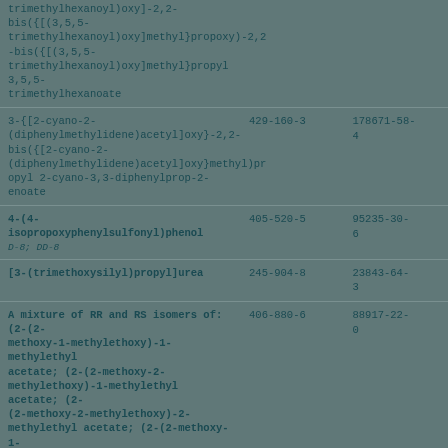| Chemical Name | EC Number | CAS Number |
| --- | --- | --- |
| trimethylhexanoyl)oxy]-2,2-bis({[(3,5,5-trimethylhexanoyl)oxy]methyl}propoxy)-2,2-bis({[(3,5,5-trimethylhexanoyl)oxy]methyl}propyl 3,5,5-trimethylhexanoate |  |  |
| 3-{[2-cyano-2-(diphenylmethylidene)acetyl]oxy}-2,2-bis({[2-cyano-2-(diphenylmethylidene)acetyl]oxy}methyl)propyl 2-cyano-3,3-diphenylprop-2-enoate | 429-160-3 | 178671-58-4 |
| 4-(4-isopropoxyphenylsulfonyl)phenol
D-8; DD-8 | 405-520-5 | 95235-30-6 |
| [3-(trimethoxysilyl)propyl]urea | 245-904-8 | 23843-64-3 |
| A mixture of RR and RS isomers of: (2-(2-methoxy-1-methylethoxy)-1-methylethyl acetate; (2-(2-methoxy-2-methylethoxy)-1-methylethyl acetate; (2-(2-methoxy-2-methylethoxy)-2-methylethyl acetate; (2-(2-methoxy-1-methylethoxy)-2-methylethyl acetate | 406-880-6 | 88917-22-0 |
| ACETATE DPMA ACROSOLV; ACROSOLV DPMA |  |  |